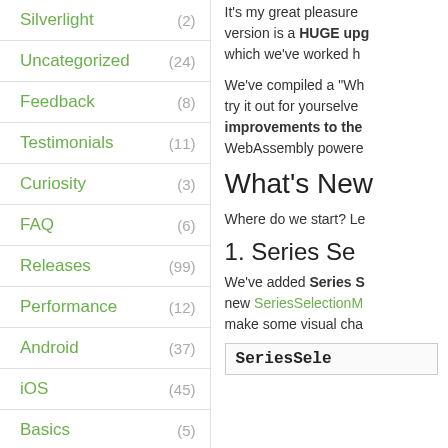Silverlight (2)
Uncategorized (24)
Feedback (8)
Testimonials (11)
Curiosity (3)
FAQ (6)
Releases (99)
Performance (12)
Android (37)
iOS (45)
Basics (5)
Xamarin (22)
Business (5)
It's my great pleasure... version is a HUGE upg... which we've worked h...
We've compiled a "Wh... try it out for yourselve... improvements to the... WebAssembly powere...
What's New
Where do we start? Le...
1. Series Se...
We've added Series S... new SeriesSelectionM... make some visual cha...
SeriesSele...